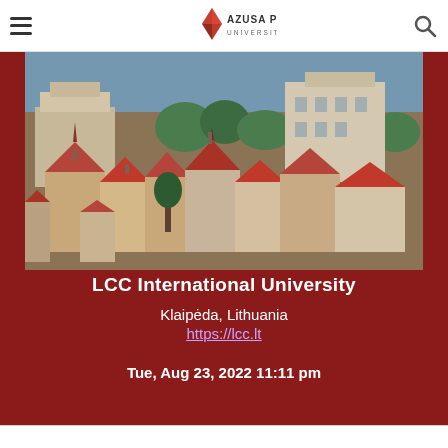Azusa Pacific University navigation bar with hamburger menu and search icon
[Figure (photo): Aerial view of an old European town with terracotta rooftops, church towers, and green trees — likely Tallinn, Estonia or similar Baltic city]
LCC International University
Klaipėda, Lithuania
https://lcc.lt
Tue, Aug 23, 2022 11:11 pm